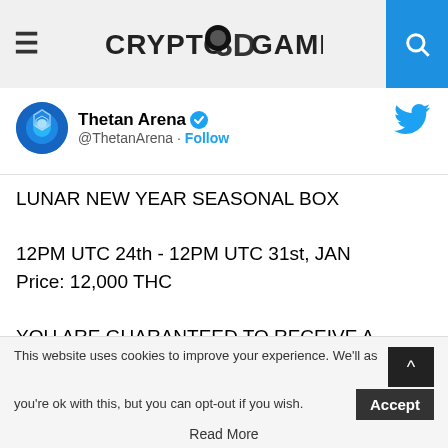Crypto3DGames
[Figure (screenshot): Thetan Arena Twitter/X tweet card showing account name, handle with Follow link, and tweet text about Lunar New Year Seasonal Box]
LUNAR NEW YEAR SEASONAL BOX

12PM UTC 24th - 12PM UTC 31st, JAN
Price: 12,000 THC

YOU ARE GUARANTEED TO RECEIVE A LEGENDARY NFT HERO and a chance to own the brand-new legendary hero: Velvet - Violet Blossom.
This website uses cookies to improve your experience. We'll as you're ok with this, but you can opt-out if you wish. Accept
Read More